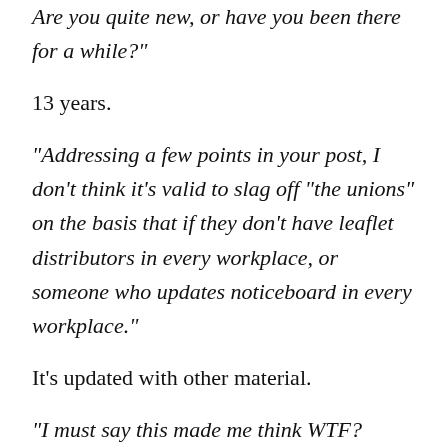Are you quite new, or have you been there for a while?"
13 years.
"Addressing a few points in your post, I don't think it's valid to slag off "the unions" on the basis that if they don't have leaflet distributors in every workplace, or someone who updates noticeboard in every workplace."
It's updated with other material.
"I must say this made me think WTF? Aren't you a communist? If so how the hell could you ever cross a picket line? I think this is an example of how some left communists get so